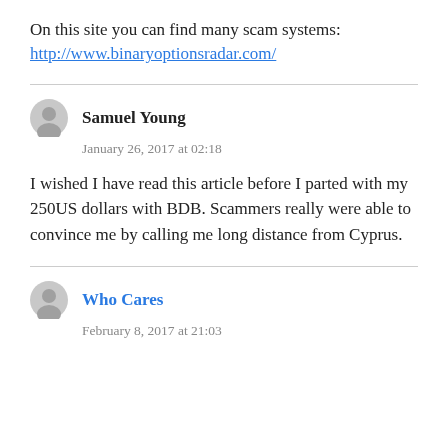On this site you can find many scam systems:
http://www.binaryoptionsradar.com/
Samuel Young
January 26, 2017 at 02:18
I wished I have read this article before I parted with my 250US dollars with BDB. Scammers really were able to convince me by calling me long distance from Cyprus.
Who Cares
February 8, 2017 at 21:03